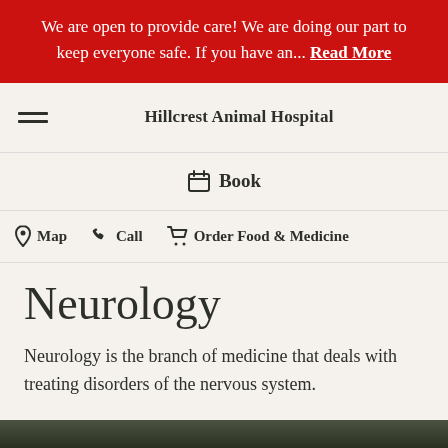We are open to provide care! We are doing our part to keep everyone safe. If you have an... Read More
Hillcrest Animal Hospital
Book
Map   Call   Order Food & Medicine
Neurology
Neurology is the branch of medicine that deals with treating disorders of the nervous system.